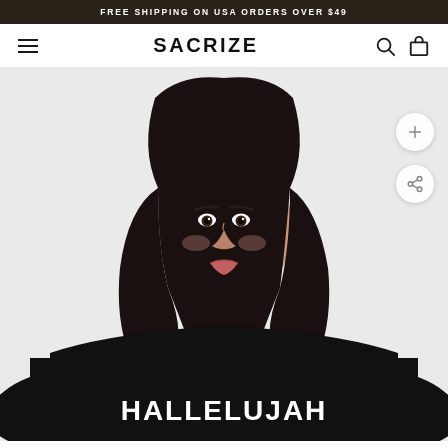FREE SHIPPING ON USA ORDERS OVER $49
SACRIZE
[Figure (photo): A young woman wearing a black half-zip pullover sweatshirt with 'HALLELUJAH' printed in white bold letters on the chest. The model has long dark hair and is photographed against a light gray background.]